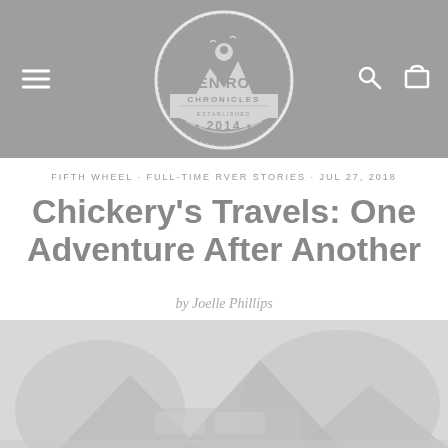Open Road Chronicles — Established 2014
FIFTH WHEEL · FULL-TIME RVER STORIES · JUL 27, 2018
Chickery's Travels: One Adventure After Another
by Joelle Phillips
[Figure (photo): Faded grayscale photo of an RV or travel scene, partially visible at the bottom of the page]